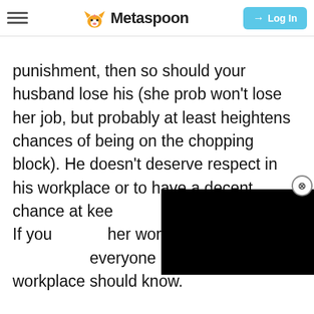Metaspoon | Log In
punishment, then so should your husband lose his (she prob won't lose her job, but probably at least heightens chances of being on the chopping block). He doesn't deserve respect in his workplace or to have a decent chance at kee[ping his job if she doesn't. If you [report,] her workplace shoul[d know, and] everyone in your husband's workplace should know.